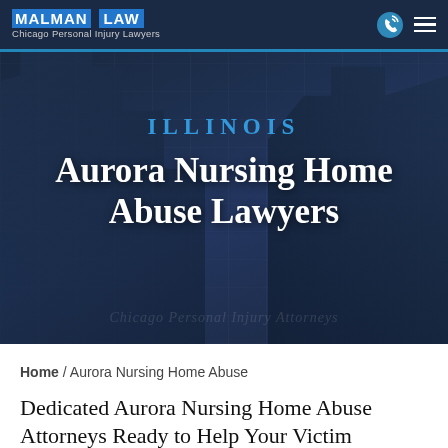MALMAN LAW — Chicago Personal Injury Lawyers
[Figure (screenshot): Hero banner image showing dark navy blue background with building reflections, overlaid with the text ILLINOIS in blue and Aurora Nursing Home Abuse Lawyers in white, plus a watermark text Chicago Personal Injury Attorneys]
Home / Aurora Nursing Home Abuse
Dedicated Aurora Nursing Home Abuse Attorneys Ready to Help Your Victim